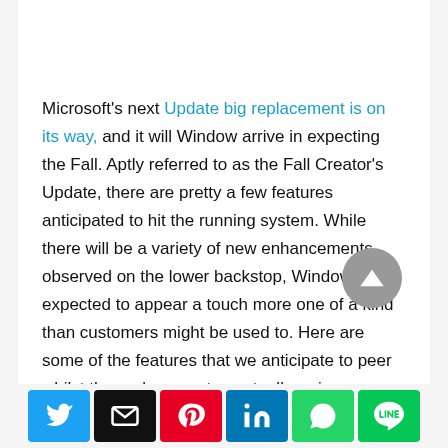Microsoft's next Update big replacement is on its way, and it will Window arrive in expecting the Fall. Aptly referred to as the Fall Creator's Update, there are pretty a few features anticipated to hit the running system. While there will be a variety of new enhancements observed on the lower backstop, Windows is expected to appear a touch more one of a kind than customers might be used to. Here are some of the features that we anticipate to peer whilst the replacement eventually arrives.
Social share icons: Twitter, Email, Pinterest, LinkedIn, WhatsApp, LINE